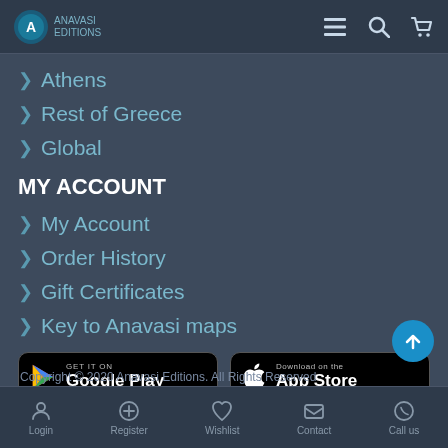Anavasi Editions - Navigation bar with logo, menu, search, cart
> Athens
> Rest of Greece
> Global
MY ACCOUNT
> My Account
> Order History
> Gift Certificates
> Key to Anavasi maps
[Figure (screenshot): GET IT ON Google Play button]
[Figure (screenshot): Download on the App Store button]
Copyright © 2020 Anavasi Editions. All Rights Reserved
Login | Register | Wishlist | Contact | Call us